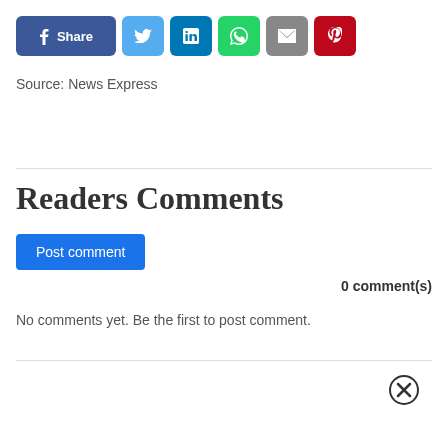[Figure (screenshot): Social media share buttons: Facebook Share, Twitter, LinkedIn, WhatsApp, Email, Pinterest]
Source: News Express
Readers Comments
Post comment
0 comment(s)
No comments yet. Be the first to post comment.
[Figure (illustration): Close/cancel icon (circled X)]